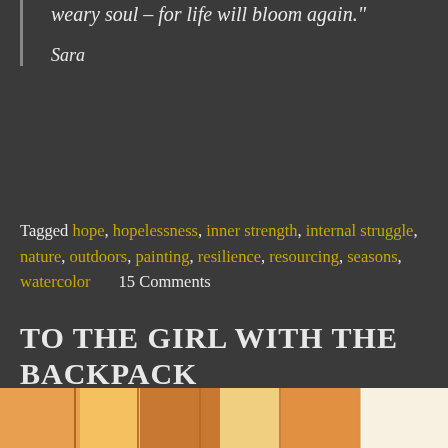weary soul – for life will bloom again."
Sara
Tagged hope, hopelessness, inner strength, internal struggle, nature, outdoors, painting, resilience, resourcing, seasons, watercolor   15 Comments
TO THE GIRL WITH THE BACKPACK
Posted on September 30, 2021 in art, childhood sexual abuse, inner child, mental health blog
[Figure (photo): Partial view of a warm-toned image, likely showing wooden or orange-colored objects, cropped at the bottom of the page]